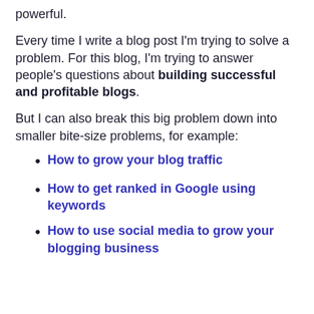powerful.
Every time I write a blog post I'm trying to solve a problem. For this blog, I'm trying to answer people's questions about building successful and profitable blogs.
But I can also break this big problem down into smaller bite-size problems, for example:
How to grow your blog traffic
How to get ranked in Google using keywords
How to use social media to grow your blogging business